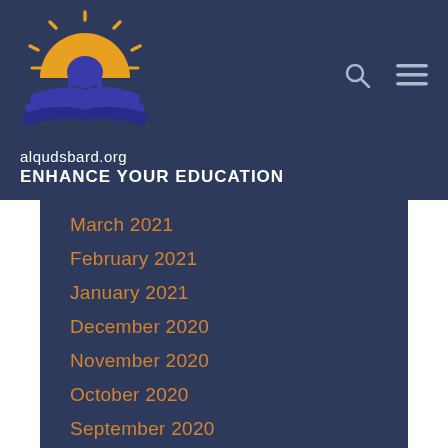[Figure (logo): alqudsbard.org logo: sun with rays above a blue dome/book shape with open pages, orange and blue colors]
alqudsbard.org
ENHANCE YOUR EDUCATION
March 2021
February 2021
January 2021
December 2020
November 2020
October 2020
September 2020
August 2020
July 2020
June 2020
May 2020